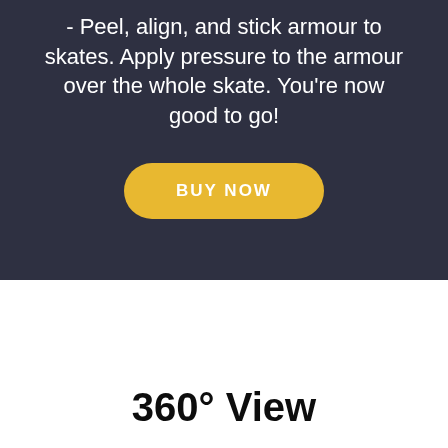- Peel, align, and stick armour to skates. Apply pressure to the armour over the whole skate. You're now good to go!
BUY NOW
360° View